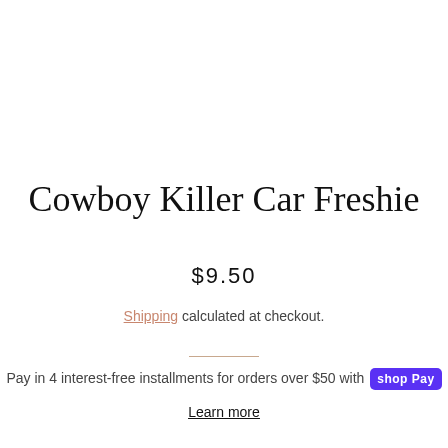Cowboy Killer Car Freshie
$9.50
Shipping calculated at checkout.
Pay in 4 interest-free installments for orders over $50 with shop Pay
Learn more